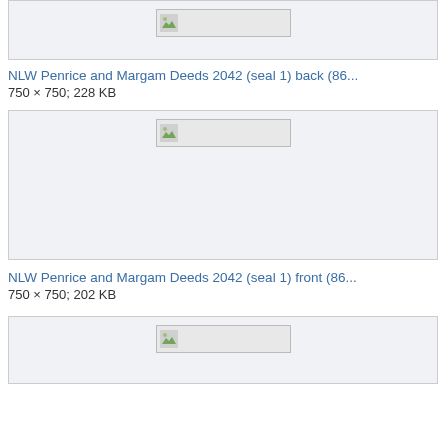[Figure (photo): Thumbnail placeholder for NLW Penrice and Margam Deeds 2042 seal 1 back image]
NLW Penrice and Margam Deeds 2042 (seal 1) back (86...
750 × 750; 228 KB
[Figure (photo): Thumbnail placeholder for NLW Penrice and Margam Deeds 2042 seal 1 front image]
NLW Penrice and Margam Deeds 2042 (seal 1) front (86...
750 × 750; 202 KB
[Figure (photo): Thumbnail placeholder for a third NLW Penrice and Margam Deeds image]